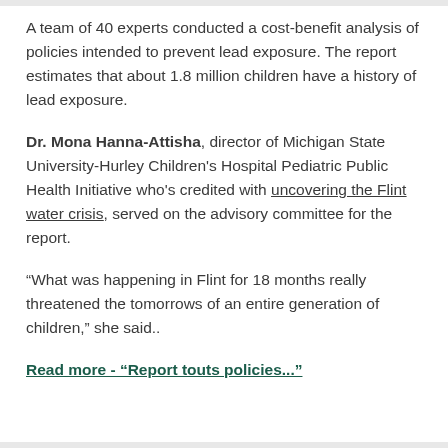A team of 40 experts conducted a cost-benefit analysis of policies intended to prevent lead exposure. The report estimates that about 1.8 million children have a history of lead exposure.
Dr. Mona Hanna-Attisha, director of Michigan State University-Hurley Children's Hospital Pediatric Public Health Initiative who's credited with uncovering the Flint water crisis, served on the advisory committee for the report.
“What was happening in Flint for 18 months really threatened the tomorrows of an entire generation of children,” she said..
Read more - "Report touts policies..."